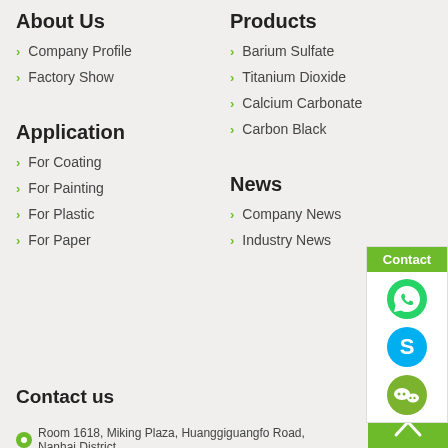About Us
Company Profile
Factory Show
Products
Barium Sulfate
Titanium Dioxide
Calcium Carbonate
Carbon Black
Application
For Coating
For Painting
For Plastic
For Paper
News
Company News
Industry News
[Figure (infographic): Contact sidebar with WhatsApp, Skype, and WeChat icons]
Contact us
Room 1618, Miking Plaza, Huanggiguangfo Road, Nanhai District